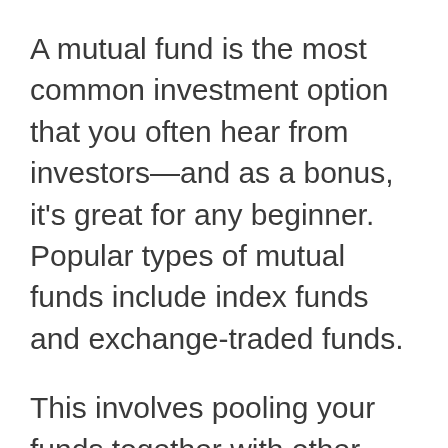A mutual fund is the most common investment option that you often hear from investors—and as a bonus, it's great for any beginner. Popular types of mutual funds include index funds and exchange-traded funds.
This involves pooling your funds together with other individuals and having it invested on your behalf by a fund manager. Your share depends on how much percentage you get out of